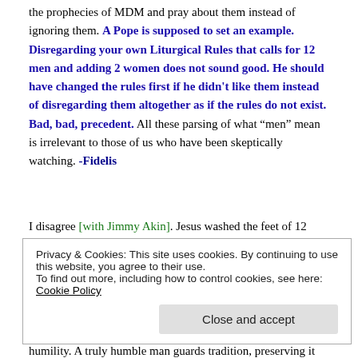the prophecies of MDM and pray about them instead of ignoring them. A Pope is supposed to set an example. Disregarding your own Liturgical Rules that calls for 12 men and adding 2 women does not sound good. He should have changed the rules first if he didn't like them instead of disregarding them altogether as if the rules do not exist. Bad, bad, precedent. All these parsing of what “men” mean is irrelevant to those of us who have been skeptically watching. -Fidelis
I disagree [with Jimmy Akin]. Jesus washed the feet of 12 men. I figured excuses were going to be made for our Pope. Hope there aren't more changes
Privacy & Cookies: This site uses cookies. By continuing to use this website, you agree to their use.
To find out more, including how to control cookies, see here: Cookie Policy
humility. A truly humble man guards tradition, preserving it intact and